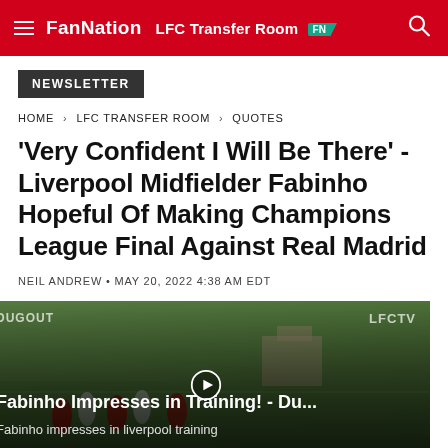FanNation LFC Transfer Room FN
NEWSLETTER
HOME › LFC TRANSFER ROOM › QUOTES
'Very Confident I Will Be There' - Liverpool Midfielder Fabinho Hopeful Of Making Champions League Final Against Real Madrid
NEIL ANDREW • MAY 20, 2022 4:38 AM EDT
[Figure (screenshot): Video thumbnail showing Fabinho Impresses in Training! - Du... with subtitle 'Fabinho impresses in liverpool training'. DUGOUT logo top-left, LFCTV top-right. Background shows a green training pitch with players.]